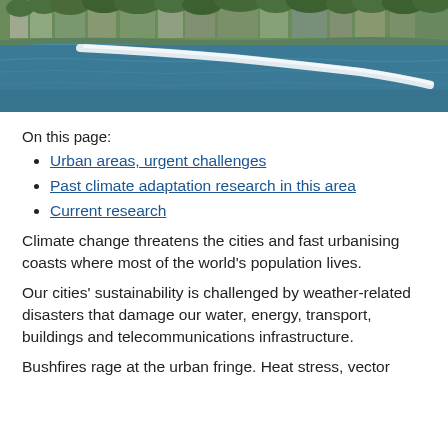[Figure (photo): Aerial or waterside photo of a coastal urban area with water in foreground showing a white wave/wake trail, and buildings and trees on the shoreline in the background.]
On this page:
Urban areas, urgent challenges
Past climate adaptation research in this area
Current research
Climate change threatens the cities and fast urbanising coasts where most of the world's population lives.
Our cities' sustainability is challenged by weather-related disasters that damage our water, energy, transport, buildings and telecommunications infrastructure.
Bushfires rage at the urban fringe. Heat stress, vector